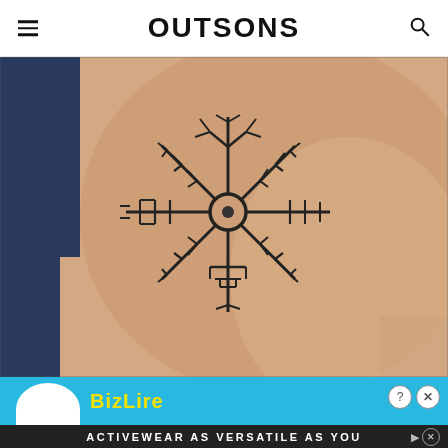OUTSONS
[Figure (photo): Close-up photo of a vegvisir (Viking compass) tattoo on a person's arm/skin. The tattoo features an eight-armed runic compass symbol with a central circle and elaborate runic stave branches extending outward in all directions, rendered in dark ink.]
[Figure (other): Advertisement banner with blue background showing a logo and dismiss buttons, followed by a dark bar with text 'ACTIVEWEAR AS VERSATILE AS YOU']